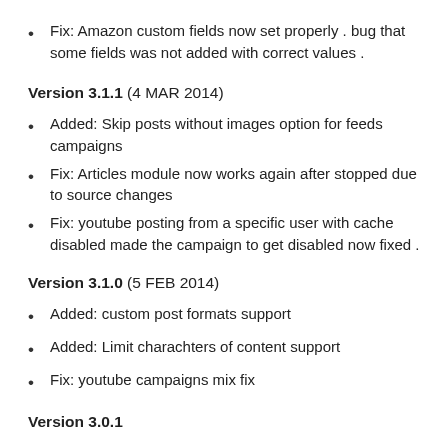Fix: Amazon custom fields now set properly . bug that some fields was not added with correct values .
Version 3.1.1 (4 MAR 2014)
Added: Skip posts without images option for feeds campaigns
Fix: Articles module now works again after stopped due to source changes
Fix: youtube posting from a specific user with cache disabled made the campaign to get disabled now fixed .
Version 3.1.0 (5 FEB 2014)
Added: custom post formats support
Added: Limit charachters of content support
Fix: youtube campaigns mix fix
Version 3.0.1